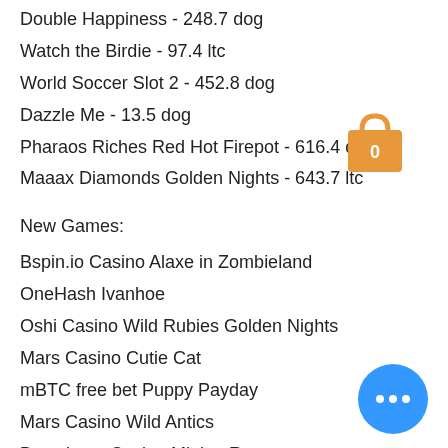Double Happiness - 248.7 dog
Watch the Birdie - 97.4 ltc
World Soccer Slot 2 - 452.8 dog
Dazzle Me - 13.5 dog
Pharaos Riches Red Hot Firepot - 616.4 dog
Maaax Diamonds Golden Nights - 643.7 ltc
New Games:
Bspin.io Casino Alaxe in Zombieland
OneHash Ivanhoe
Oshi Casino Wild Rubies Golden Nights
Mars Casino Cutie Cat
mBTC free bet Puppy Payday
Mars Casino Wild Antics
Betcoin.ag Casino Mighty Rex
Betcoin.ag Casino Ariana
Diamond Reels Casino Sapphire Lagoon
BetChain Casino Aura of Jupiter
1xSlots Casino Cherry Blossoms
1xBit Casino Double Crazy Nuts
CryptoWild Casino Khepri The Eternal God